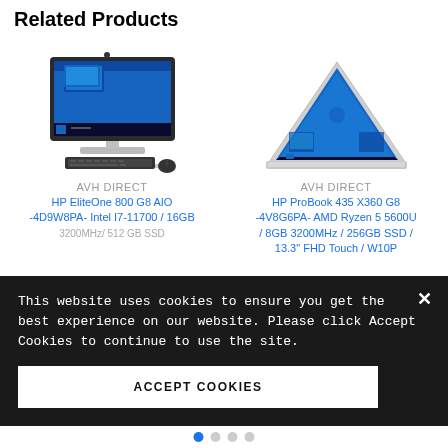Related Products
[Figure (photo): HP EliteOne 800 G8 AIO desktop computer with monitor, keyboard and mouse]
AVH DIRECT
HP EliteOne 800 G8 AIO -4D9W8PA- Intel I7-11700 / 16GB 3200MHz/ 512 GB SSD
[Figure (photo): HP ProBook 435 X360 G8 laptop in tent mode showing Windows 10 interface]
AVH DIRECT
HP ProBook 435 X360 G8 -4V8G6PA- AMD Ryzen 5 5600U / 8GB 3200MHz / 256GB SSD / 13.3" FHD Touch / W10P
This website uses cookies to ensure you get the best experience on our website. Please click Accept Cookies to continue to use the site.
ACCEPT COOKIES